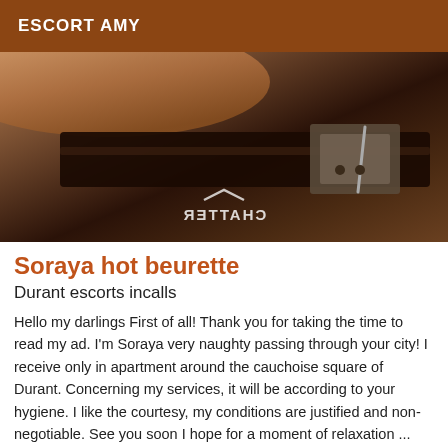ESCORT AMY
[Figure (photo): Close-up photo of a leather belt or strap against a dark background, with a mirrored watermark text 'CHATTER' at the bottom center.]
Soraya hot beurette
Durant escorts incalls
Hello my darlings First of all! Thank you for taking the time to read my ad. I'm Soraya very naughty passing through your city! I receive only in apartment around the cauchoise square of Durant. Concerning my services, it will be according to your hygiene. I like the courtesy, my conditions are justified and non-negotiable. See you soon I hope for a moment of relaxation ... Kisses ? see